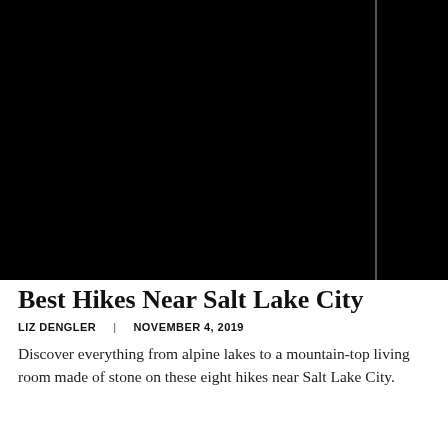[Figure (photo): Two-panel dark/black photo area at the top of the page, likely landscape photographs appearing very dark or black, separated by a thin vertical divider line.]
Best Hikes Near Salt Lake City
LIZ DENGLER  |  NOVEMBER 4, 2019
Discover everything from alpine lakes to a mountain-top living room made of stone on these eight hikes near Salt Lake City.